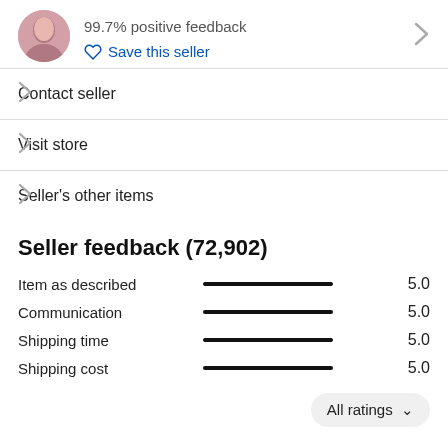99.7% positive feedback
Save this seller
Contact seller
Visit store
Seller's other items
Seller feedback (72,902)
| Category | Rating Bar | Score |
| --- | --- | --- |
| Item as described | — | 5.0 |
| Communication | — | 5.0 |
| Shipping time | — | 5.0 |
| Shipping cost | — | 5.0 |
All ratings